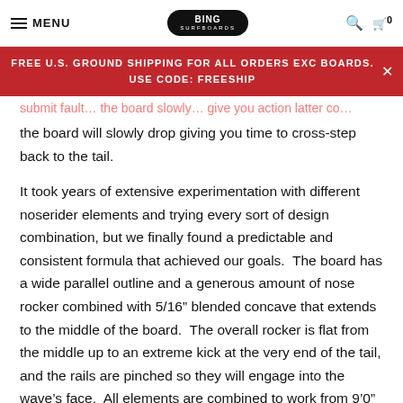MENU | BING SURFBOARDS | Search | Cart 0
FREE U.S. GROUND SHIPPING FOR ALL ORDERS EXC BOARDS. USE CODE: FREESHIP
the board will slowly drop giving you time to cross-step back to the tail.
It took years of extensive experimentation with different noserider elements and trying every sort of design combination, but we finally found a predictable and consistent formula that achieved our goals.  The board has a wide parallel outline and a generous amount of nose rocker combined with 5/16” blended concave that extends to the middle of the board.  The overall rocker is flat from the middle up to an extreme kick at the very end of the tail, and the rails are pinched so they will engage into the wave’s face.  All elements are combined to work from 9’0” to 11’0”.  - Matt Calvani, Bing Shaper